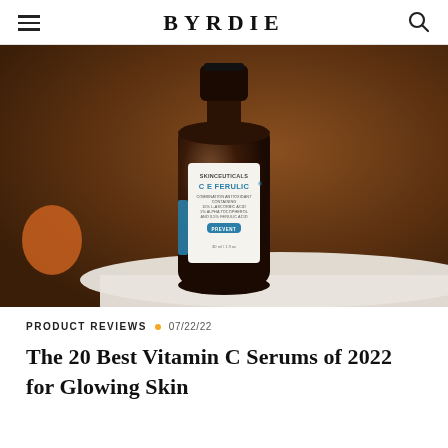BYRDIE
[Figure (photo): A dark amber glass bottle of SkinCeuticals C E Ferulic serum with a black cap, sitting on a white surface against a warm brown background. The label reads: SkinCeuticals, C E Ferulic, Combination Antioxidant Containing 15% L-Ascorbic Acid, 1% Alpha Tocopherol, and 0.5% Ferulic Acid, PREVENT, 30ml / 1fl oz.]
PRODUCT REVIEWS • 07/22/22
The 20 Best Vitamin C Serums of 2022 for Glowing Skin